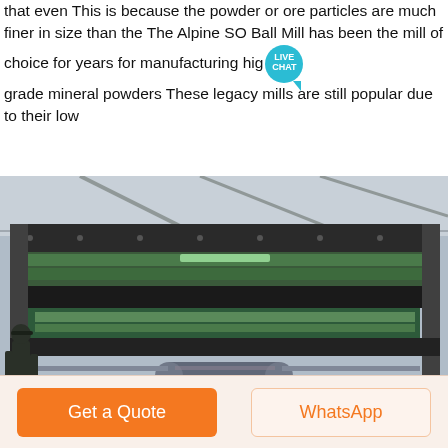that even This is because the powder or ore particles are much finer in size than the The Alpine SO Ball Mill has been the mill of choice for years for manufacturing high grade mineral powders These legacy mills are still popular due to their low
[Figure (photo): Industrial screening or milling machine shown open with visible internal rollers, conveyor belts, and orange-colored frame components. A person stands to the left side inside an industrial facility.]
Get a Quote
WhatsApp